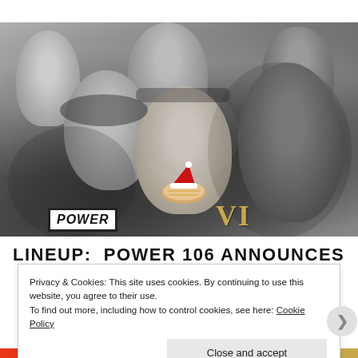[Figure (photo): Black and white group photo of several music artists including Pharrell Williams, Macklemore, and others for a Power 106 lineup announcement. The word POWER is visible in a logo at the bottom of the image along with gold Roman numerals. A decorative cookie with a Santa hat is overlaid on the image.]
LINEUP: POWER 106 ANNOUNCES
Privacy & Cookies: This site uses cookies. By continuing to use this website, you agree to their use.
To find out more, including how to control cookies, see here: Cookie Policy
Close and accept